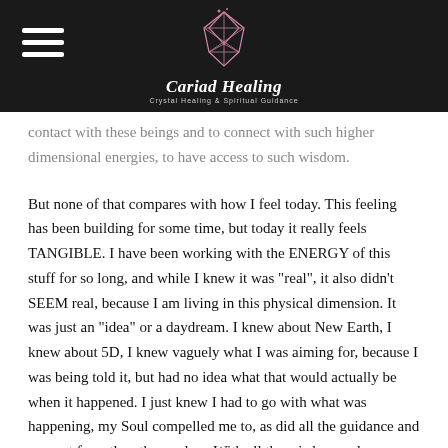Cariad Healing — Crystal Healing & Spiritual Guidance
contact with these beings and to connect with such higher dimensional energies, to have access to such wisdom.
But none of that compares with how I feel today. This feeling has been building for some time, but today it really feels TANGIBLE. I have been working with the ENERGY of this stuff for so long, and while I knew it was "real", it also didn't SEEM real, because I am living in this physical dimension. It was just an "idea" or a daydream. I knew about New Earth, I knew about 5D, I knew vaguely what I was aiming for, because I was being told it, but had no idea what that would actually be when it happened. I just knew I had to go with what was happening, my Soul compelled me to, as did all the guidance and support from the other realms. With all the wisdom and